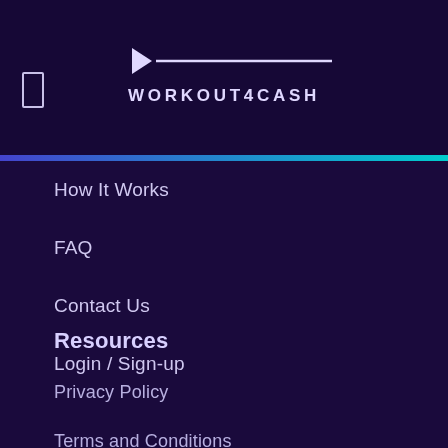[Figure (logo): WORKOUT4CASH logo with play button icon and horizontal line]
How It Works
FAQ
Contact Us
Login / Sign-up
Resources
Privacy Policy
Terms and Conditions